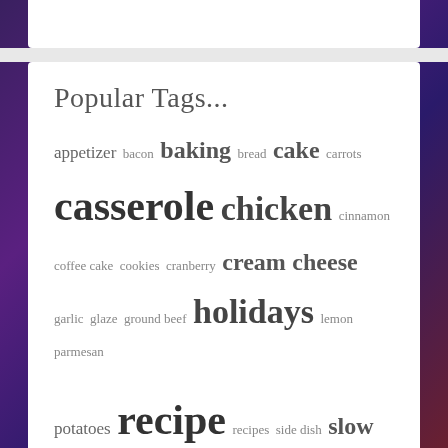Popular Tags...
appetizer bacon baking bread cake carrots casserole chicken cinnamon coffee cake cookies cranberry cream cheese garlic glaze ground beef holidays lemon parmesan potatoes recipe recipes side dish slow cooker soup
Follow me on Twitter
Tweets from